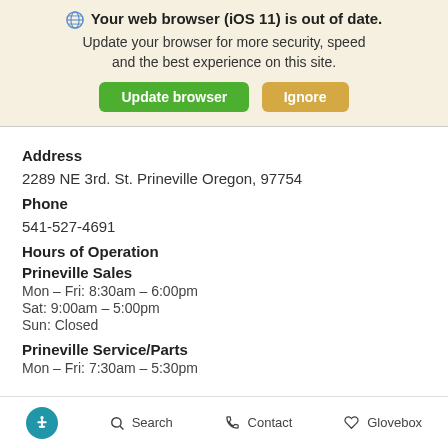[Figure (screenshot): Browser update notification banner with globe icon, bold warning text, subtitle, and two buttons: 'Update browser' (green) and 'Ignore' (orange/tan)]
Address
2289 NE 3rd. St. Prineville Oregon, 97754
Phone
541-527-4691
Hours of Operation
Prineville Sales
Mon – Fri: 8:30am – 6:00pm
Sat: 9:00am – 5:00pm
Sun: Closed
Prineville Service/Parts
Mon – Fri: 7:30am – 5:30pm
Accessibility  Search  Contact  Glovebox